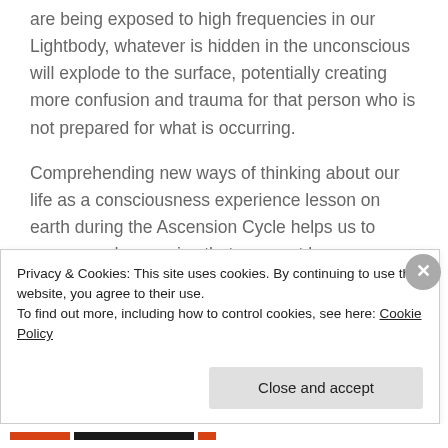are being exposed to high frequencies in our Lightbody, whatever is hidden in the unconscious will explode to the surface, potentially creating more confusion and trauma for that person who is not prepared for what is occurring.
Comprehending new ways of thinking about our life as a consciousness experience lesson on earth during the Ascension Cycle helps us to assess and recognize that we must have Accountability to all of
Privacy & Cookies: This site uses cookies. By continuing to use this website, you agree to their use.
To find out more, including how to control cookies, see here: Cookie Policy
Close and accept